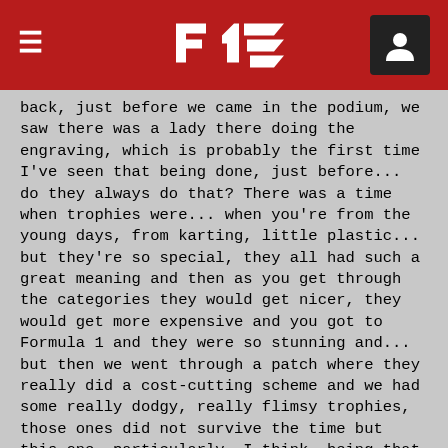F1 Navigation Header
back, just before we came in the podium, we saw there was a lady there doing the engraving, which is probably the first time I've seen that being done, just before... do they always do that? There was a time when trophies were... when you're from the young days, from karting, little plastic... but they're so special, they all had such a great meaning and then as you get through the categories they would get nicer, they would get more expensive and you got to Formula 1 and they were so stunning and... but then we went through a patch where they really did a cost-cutting scheme and we had some really dodgy, really flimsy trophies, those ones did not survive the time but this one, particularly, I think, being that we've not had a race here for a long time, it is where I remember the day when I was in karting in '94 at Rye House when Ayrton passed away so to think that we're here, 26 year, whatever it is, 26 years later and to be able to win here as he had done many times and so